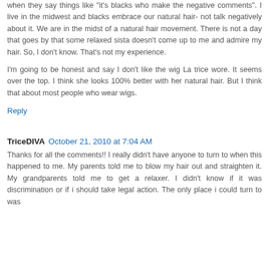when they say things like "it's blacks who make the negative comments". I live in the midwest and blacks embrace our natural hair- not talk negatively about it. We are in the midst of a natural hair movement. There is not a day that goes by that some relaxed sista doesn't come up to me and admire my hair. So, I don't know. That's not my experience.
I'm going to be honest and say I don't like the wig La trice wore. It seems over the top. I think she looks 100% better with her natural hair. But I think that about most people who wear wigs.
Reply
TriceDIVA  October 21, 2010 at 7:04 AM
Thanks for all the comments!! I really didn't have anyone to turn to when this happened to me. My parents told me to blow my hair out and straighten it. My grandparents told me to get a relaxer. I didn't know if it was discrimination or if i should take legal action. The only place i could turn to was